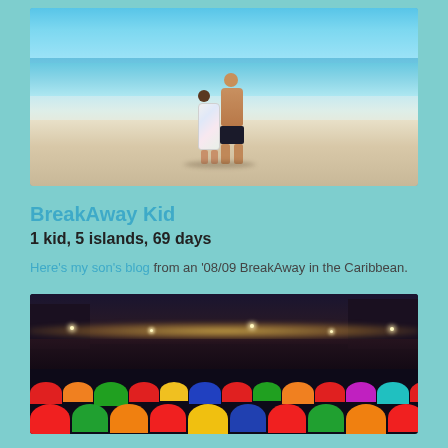[Figure (photo): Two people (an adult and a child) standing on a white sandy beach with clear turquoise water in the background, viewed from behind.]
BreakAway Kid
1 kid, 5 islands, 69 days
Here's my son's blog from an '08/09 BreakAway in the Caribbean.
[Figure (photo): Aerial night view of a busy night market with colorful umbrellas, lights, and crowds of people.]